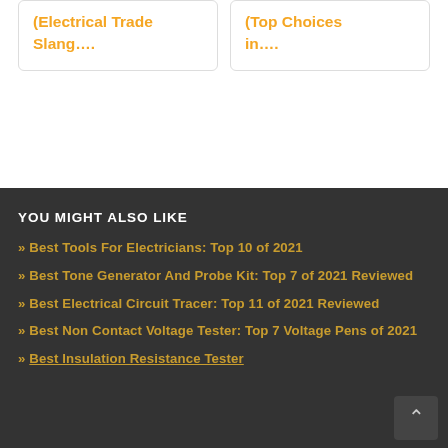(Electrical Trade Slang….
(Top Choices in….
YOU MIGHT ALSO LIKE
Best Tools For Electricians: Top 10 of 2021
Best Tone Generator And Probe Kit: Top 7 of 2021 Reviewed
Best Electrical Circuit Tracer: Top 11 of 2021 Reviewed
Best Non Contact Voltage Tester: Top 7 Voltage Pens of 2021
Best Insulation Resistance Tester